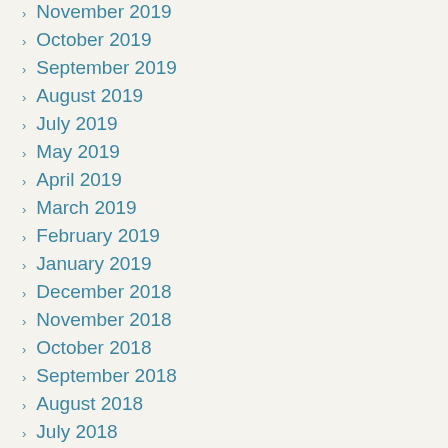November 2019
October 2019
September 2019
August 2019
July 2019
May 2019
April 2019
March 2019
February 2019
January 2019
December 2018
November 2018
October 2018
September 2018
August 2018
July 2018
June 2018
May 2018